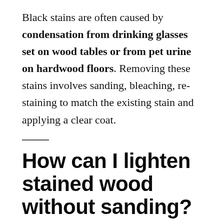Black stains are often caused by condensation from drinking glasses set on wood tables or from pet urine on hardwood floors. Removing these stains involves sanding, bleaching, re-staining to match the existing stain and applying a clear coat.
How can I lighten stained wood without sanding?